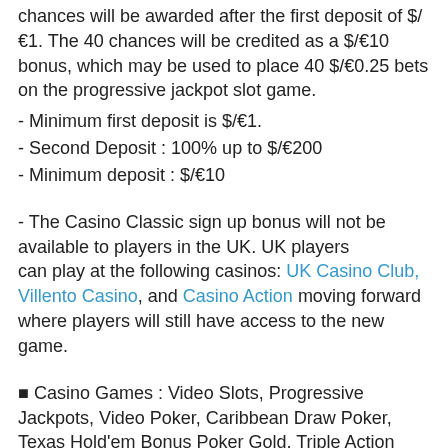chances will be awarded after the first deposit of $/€1. The 40 chances will be credited as a $/€10 bonus, which may be used to place 40 $/€0.25 bets on the progressive jackpot slot game.
- Minimum first deposit is $/€1.
- Second Deposit : 100% up to $/€200
- Minimum deposit : $/€10
- The Casino Classic sign up bonus will not be available to players in the UK. UK players can play at the following casinos: UK Casino Club, Villento Casino, and Casino Action moving forward where players will still have access to the new game.
■ Casino Games : Video Slots, Progressive Jackpots, Video Poker, Caribbean Draw Poker, Texas Hold'em Bonus Poker Gold, Triple Action Hold'em Bonus Poker Gold, online Blackjack, Roulette, Live auto roulette, Live French and American roulette, Live Caribbean Stud Poker, Live Casino Hold'em, Live Three Card Poker, Live Dream Catcher, online Baccarat, Craps, Casino War, Sic Bo, Keno, Mobile Casino, Ling Or...